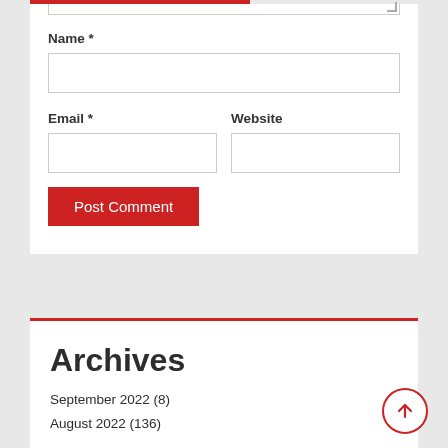Name *
Email *
Website
Post Comment
Archives
September 2022 (8)
August 2022 (136)